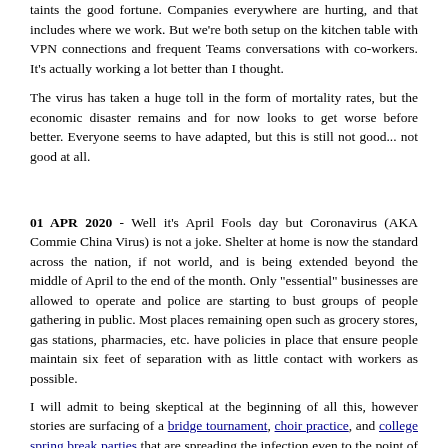taints the good fortune. Companies everywhere are hurting, and that includes where we work. But we're both setup on the kitchen table with VPN connections and frequent Teams conversations with co-workers. It's actually working a lot better than I thought.
The virus has taken a huge toll in the form of mortality rates, but the economic disaster remains and for now looks to get worse before better. Everyone seems to have adapted, but this is still not good... not good at all.
01 APR 2020 - Well it's April Fools day but Coronavirus (AKA Commie China Virus) is not a joke. Shelter at home is now the standard across the nation, if not world, and is being extended beyond the middle of April to the end of the month. Only "essential" businesses are allowed to operate and police are starting to bust groups of people gathering in public. Most places remaining open such as grocery stores, gas stations, pharmacies, etc. have policies in place that ensure people maintain six feet of separation with as little contact with workers as possible.
I will admit to being skeptical at the beginning of all this, however stories are surfacing of a bridge tournament, choir practice, and college spring break parties that are spreading the infection even to the point of death. The fatalities are for the most part only affecting the elderly, but once in a while a normally healthy person succumbs to the disease.
It's not good.
Me and the Puzzle Master have been working from home for nearly two